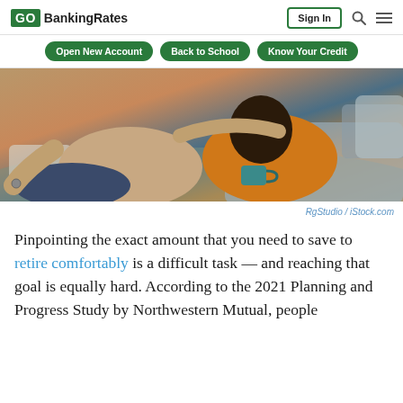GOBankingRates | Sign In
Open New Account
Back to School
Know Your Credit
[Figure (photo): A couple sitting on the floor leaning against a couch; the woman wearing an orange sweater holds a teal mug while the man in a beige sweater has his arm around her.]
RgStudio / iStock.com
Pinpointing the exact amount that you need to save to retire comfortably is a difficult task — and reaching that goal is equally hard. According to the 2021 Planning and Progress Study by Northwestern Mutual, people